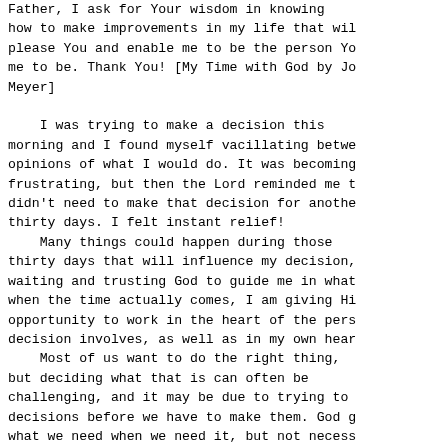Father, I ask for Your wisdom in knowing how to make improvements in my life that will please You and enable me to be the person You want me to be. Thank You! [My Time with God by Joyce Meyer]

    I was trying to make a decision this morning and I found myself vacillating between opinions of what I would do. It was becoming frustrating, but then the Lord reminded me that I didn't need to make that decision for another thirty days. I felt instant relief!
    Many things could happen during those thirty days that will influence my decision, and waiting and trusting God to guide me in what to do when the time actually comes, I am giving Him opportunity to work in the heart of the person the decision involves, as well as in my own heart.
    Most of us want to do the right thing, but deciding what that is can often be challenging, and it may be due to trying to make decisions before we have to make them. God gives us what we need when we need it, but not necessarily when we want it. Many things in life work themselves out if we will pray, give them to